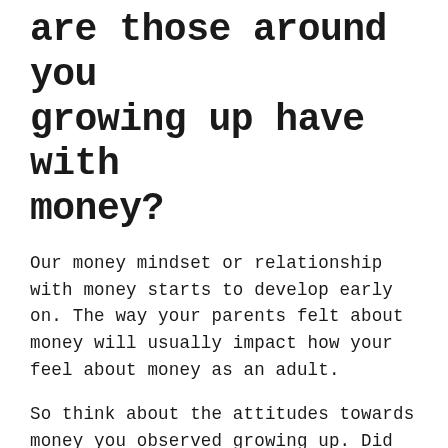are those around you growing up have with money?
Our money mindset or relationship with money starts to develop early on. The way your parents felt about money will usually impact how your feel about money as an adult.
So think about the attitudes towards money you observed growing up. Did you observe a lot of concern or stress when it came to money or was money never an issue.
Now think about your own attitude towards money. Do you think...